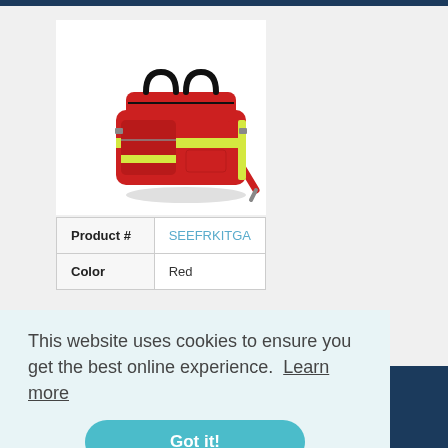[Figure (photo): Red first aid / EMS bag with yellow reflective strips, black handles and a shoulder strap.]
| Product # | SEEFRKITGA |
| --- | --- |
| Color | Red |
This website uses cookies to ensure you get the best online experience. Learn more
Got it!